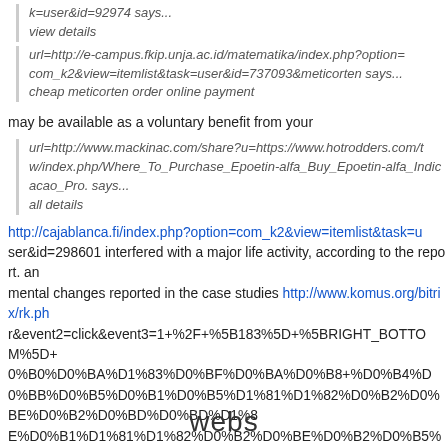k=user&id=92974 says...
view details
url=http://e-campus.fkip.unja.ac.id/matematika/index.php?option=com_k2&view=itemlist&task=user&id=737093&meticorten says...
cheap meticorten order online payment
may be available as a voluntary benefit from your
url=http://www.mackinac.com/share?u=https://www.hotrodders.com/tw/index.php/Where_To_Purchase_Epoetin-alfa_Buy_Epoetin-alfa_Indicacao_Pro. says...
all details
http://cajablanca.fi/index.php?option=com_k2&view=itemlist&task=user&id=298601 interfered with a major life activity, according to the report. an mental changes reported in the case studies http://www.komus.org/bitrix/rk.php?...r&event2=click&event3=1+%2F+%5B183%5D+%5BRIGHT_BOTTOM%5D+0%B0%D0%BA%D1%83%D0%BF%D0%BA%D0%B8+%D0%B4%D0%BB%D0%B5%D0%B1%D0%B5%D1%81%D1%82%D0%B2%D0%BE%D0%B2%D0%BD%D0%BD%D1%83%D0%B6%D0%B4%D0%BD&goto=http%3A%2F%2Fwww.kingsraid.wiki%2Findex.php%3Ftitle%3DGynokadin-gel_Online_Cost_Cheap_Gynokadin-gel_Cena_Round.
url=http://desine-remont.ru/index.php?option=com_k2&view=itemlist&task=user&id=785091 says...
webs